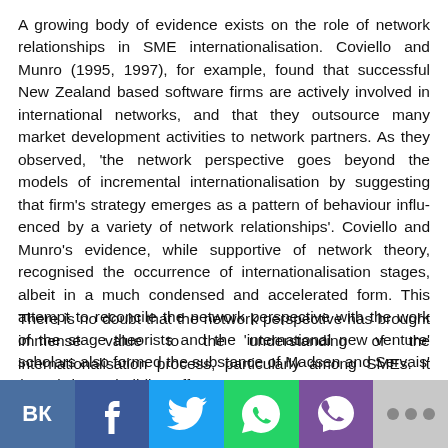A growing body of evidence exists on the role of network relationships in SME internationalisation. Coviello and Munro (1995, 1997), for example, found that successful New Zealand based software firms are actively involved in international networks, and that they outsource many market development activities to network partners. As they observed, 'the network perspective goes beyond the models of incremental internationalisation by suggesting that firm's strategy emerges as a pattern of behaviour influenced by a variety of network relationships'. Coviello and Munro's evidence, while supportive of network theory, recognised the occurrence of internationalisation stages, albeit in a much condensed and accelerated form. This attempt to reconcile the network perspective with the work of the stage theorists and the 'international new venture' scholars also formed the substance of Madsen and Servais' (1997) theory-building effort.
There is no doubt that the network perspective has brought immense value to the understanding of the internationalisation process, particularly among SMEs. It presents a view of SME internationalisation that should be seen more as a complement than an alternative to the incremental internationalisation model. More importantly, it moves discussion away from the largely sterile debate, which, until recently, raged for and against the Uppsala model. It can, arguably, be credited with stimulating recent efforts being made towards a more holistic view of small firm internationalisation (Madsen and Servais, 1997; Bell and Young, 1998; Ibeh, 2001; Bell et al., 2003). It is to this emerging perspective that the
[Figure (infographic): Social media sharing bar with icons: VK (dark blue), Facebook (dark blue), Twitter (light blue), WhatsApp (green), Viber (purple), More/ellipsis (light grey)]